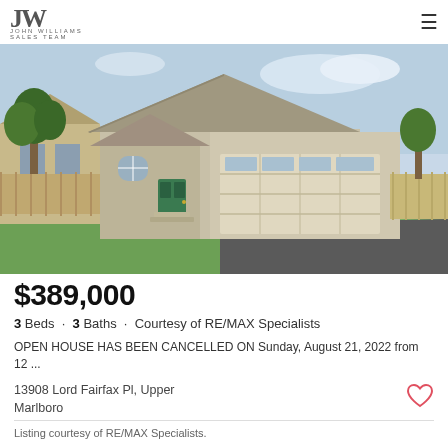JW John Williams Sales Team
[Figure (photo): Exterior photo of a two-story residential home with beige/gray siding, double garage door, green front door, manicured lawn, and asphalt driveway. Trees and wooden fence visible on the sides.]
$389,000
3 Beds · 3 Baths · Courtesy of RE/MAX Specialists
OPEN HOUSE HAS BEEN CANCELLED ON Sunday, August 21, 2022 from 12 ...
13908 Lord Fairfax Pl, Upper Marlboro
Listing courtesy of RE/MAX Specialists.